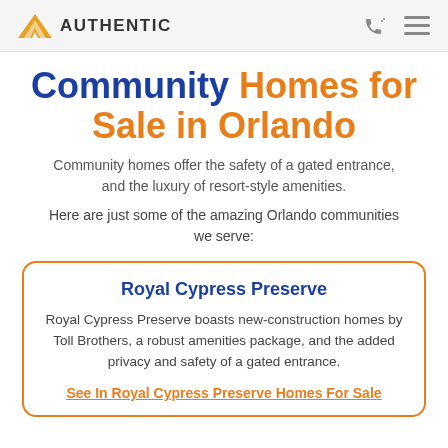AUTHENTIC
Community Homes for Sale in Orlando
Community homes offer the safety of a gated entrance, and the luxury of resort-style amenities.
Here are just some of the amazing Orlando communities we serve:
Royal Cypress Preserve
Royal Cypress Preserve boasts new-construction homes by Toll Brothers, a robust amenities package, and the added privacy and safety of a gated entrance.
See In Royal Cypress Preserve Homes For Sale